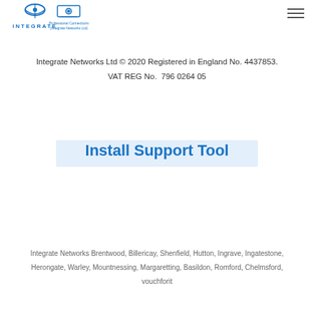Integrate Networks Ltd — Professional Connections (Integrate Networks Ltd)
Integrate Networks Ltd © 2020 Registered in England No. 4437853.
VAT REG No.  796 0264 05
Install Support Tool
Integrate Networks Brentwood, Billericay, Shenfield, Hutton, Ingrave, Ingatestone, Herongate, Warley, Mountnessing, Margaretting, Basildon, Romford, Chelmsford, vouchforit